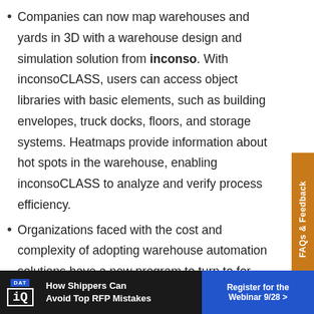Companies can now map warehouses and yards in 3D with a warehouse design and simulation solution from inconso. With inconsoCLASS, users can access object libraries with basic elements, such as building envelopes, truck docks, floors, and storage systems. Heatmaps provide information about hot spots in the warehouse, enabling inconsoCLASS to analyze and verify process efficiency.
Organizations faced with the cost and complexity of adopting warehouse automation solutions have a new program to turn to for help. Manhattan
[Figure (other): DAT iQ advertisement banner: 'How Shippers Can Avoid Top RFP Mistakes' with 'Register for the Webinar 9/28 >' call to action button]